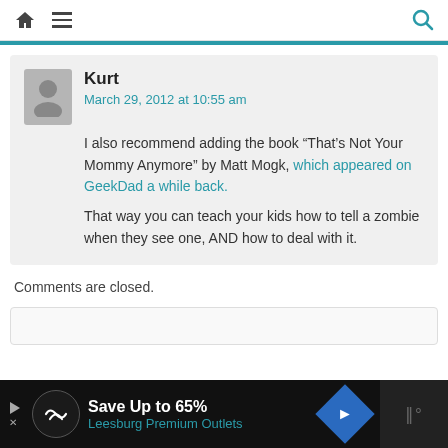Navigation bar with home icon, hamburger menu, and search icon
Kurt
March 29, 2012 at 10:55 am
I also recommend adding the book “That’s Not Your Mommy Anymore” by Matt Mogk, which appeared on GeekDad a while back.
That way you can teach your kids how to tell a zombie when they see one, AND how to deal with it.
Comments are closed.
[Figure (screenshot): Advertisement bar at the bottom: Save Up to 65% Leesburg Premium Outlets]